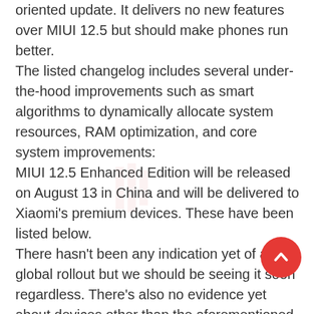oriented update. It delivers no new features over MIUI 12.5 but should make phones run better.
The listed changelog includes several under-the-hood improvements such as smart algorithms to dynamically allocate system resources, RAM optimization, and core system improvements:
MIUI 12.5 Enhanced Edition will be released on August 13 in China and will be delivered to Xiaomi's premium devices. These have been listed below.
There hasn't been any indication yet of a global rollout but we should be seeing it soon regardless. There's also no evidence yet about devices other than the aforementioned being eligible for the MIUI 12.5 Enhanced Edition update. Still, we will continue tracking the matter and will be updating this tracker with new updates for eligible devices and new devices that get added to the eligibility list. Stay tuned.
Original story (published on August 12, 2021) follows:
[Figure (other): Red circular scroll-to-top button with white chevron arrow icon]